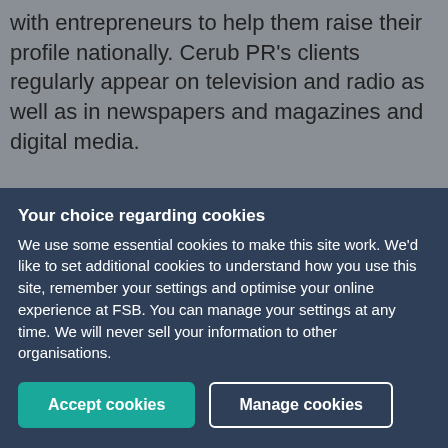with entrepreneurs to help them raise their profile nationally. Cerub PR's clients regularly appear on television and radio as well as in newspapers and magazines and digital media.
Ceri-Jane was previously named 'Entrepreneur of the
Your choice regarding cookies
We use some essential cookies to make this site work. We'd like to set additional cookies to understand how you use this site, remember your settings and optimise your online experience at FSB. You can manage your settings at any time. We will never sell your information to other organisations.